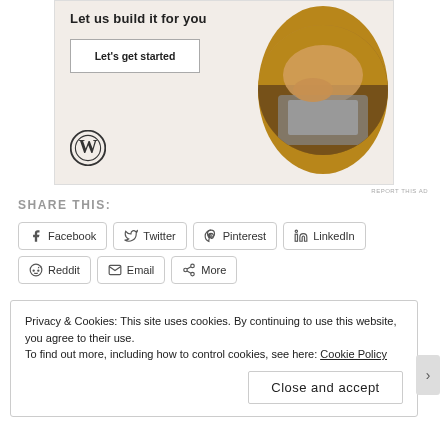[Figure (infographic): WordPress advertisement banner with beige background, 'Let us build it for you' heading, 'Let's get started' button, WordPress logo, and circular photo of hands typing on a laptop]
REPORT THIS AD
SHARE THIS:
Facebook  Twitter  Pinterest  LinkedIn  Reddit  Email  More
Privacy & Cookies: This site uses cookies. By continuing to use this website, you agree to their use.
To find out more, including how to control cookies, see here: Cookie Policy
Close and accept